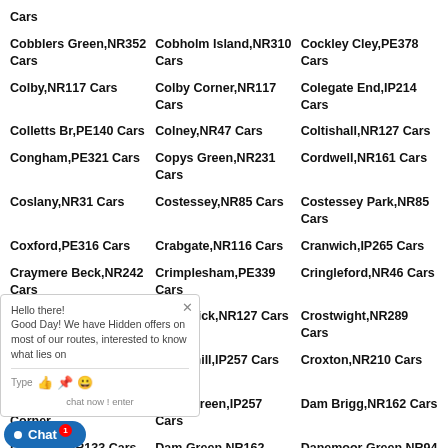Cars
Cobblers Green,NR352 Cars
Cobholm Island,NR310 Cars
Cockley Cley,PE378 Cars
Colby,NR117 Cars
Colby Corner,NR117 Cars
Colegate End,IP214 Cars
Colletts Br,PE140 Cars
Colney,NR47 Cars
Coltishall,NR127 Cars
Congham,PE321 Cars
Copys Green,NR231 Cars
Cordwell,NR161 Cars
Coslany,NR31 Cars
Costessey,NR85 Cars
Costessey Park,NR85 Cars
Coxford,PE316 Cars
Crabgate,NR116 Cars
Cranwich,IP265 Cars
Craymere Beck,NR242 Cars
Crimplesham,PE339 Cars
Cringleford,NR46 Cars
Crossc... Street...
Crostwick,NR127 Cars
Crostwight,NR289 Cars
Crown... Cars
Crowshill,IP257 Cars
Croxton,NR210 Cars
Cucum... Corner...
Daffy Green,IP257 Cars
Dam Brigg,NR162 Cars
Damgate,NR133 Cars
Dam Green,NR162 Cars
Danemoor Green,NR94 Cars